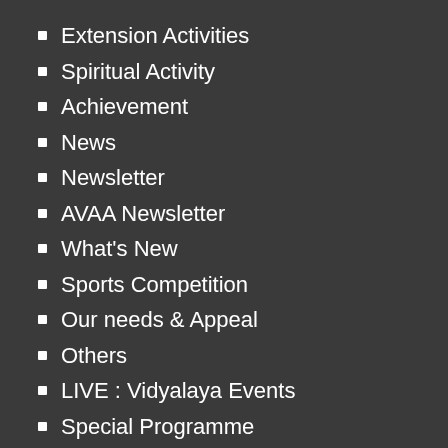Extension Activities
Spiritual Activity
Achievement
News
Newsletter
AVAA Newsletter
What's New
Sports Competition
Our needs & Appeal
Others
LIVE : Vidyalaya Events
Special Programme
Donations